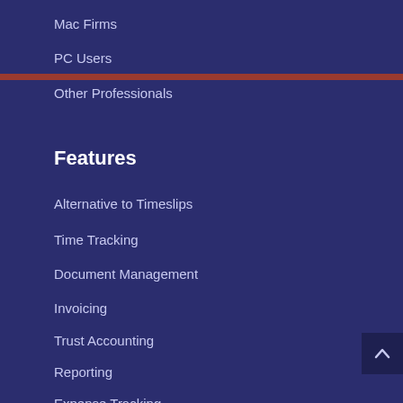Mac Firms
PC Users
Other Professionals
Features
Alternative to Timeslips
Time Tracking
Document Management
Invoicing
Trust Accounting
Reporting
Expense Tracking
Project Management